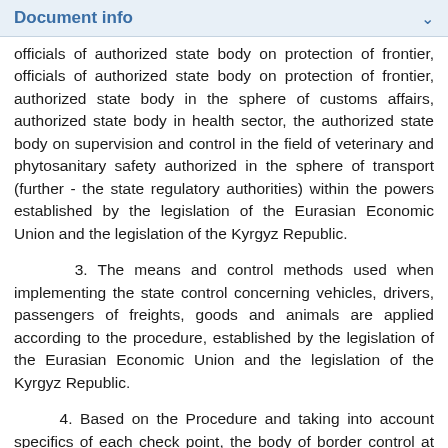Document info
officials of authorized state body on protection of frontier, authorized state body in the sphere of customs affairs, authorized state body in health sector, the authorized state body on supervision and control in the field of veterinary and phytosanitary safety authorized in the sphere of transport (further - the state regulatory authorities) within the powers established by the legislation of the Eurasian Economic Union and the legislation of the Kyrgyz Republic.
3. The means and control methods used when implementing the state control concerning vehicles, drivers, passengers of freights, goods and animals are applied according to the procedure, established by the legislation of the Eurasian Economic Union and the legislation of the Kyrgyz Republic.
4. Based on the Procedure and taking into account specifics of each check point, the body of border control at check points develops technological schemes of the organization of the omission through customs border of the